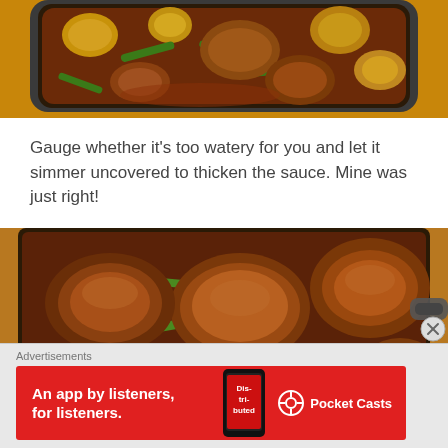[Figure (photo): Top portion of a pan/baking dish containing chicken stew with green beans, potatoes, and carrots in a dark sauce, viewed from above on a wooden surface.]
Gauge whether it's too watery for you and let it simmer uncovered to thicken the sauce. Mine was just right!
[Figure (photo): Close-up of a large pan containing browned chicken pieces, potatoes, green beans, and mushrooms in a savory sauce.]
Advertisements
[Figure (infographic): Pocket Casts advertisement banner: 'An app by listeners, for listeners.' with a phone graphic and Pocket Casts logo on red background.]